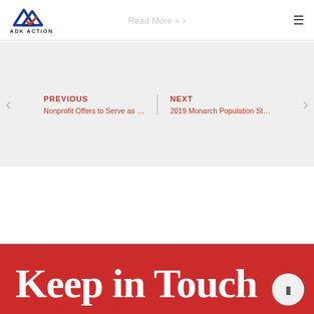Read More » | ADK Action logo | hamburger menu
PREVIOUS
Nonprofit Offers to Serve as …
NEXT
2019 Monarch Population St…
Keep in Touch